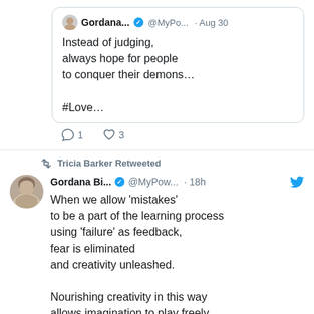[Figure (screenshot): Quoted tweet from Gordana... @MyPo... on Aug 30 reading: 'Instead of judging, always hope for people to conquer their demons... #Love...']
1  3 (reply and like counts)
Tricia Barker Retweeted
[Figure (photo): Profile photo of Gordana Bi... - woman with light hair]
Gordana Bi... @MyPow... · 18h
When we allow 'mistakes' to be a part of the learning process using 'failure' as feedback, fear is eliminated and creativity unleashed.

Nourishing creativity in this way allows imagination to play freely, which inevitably allows change to simply happen.